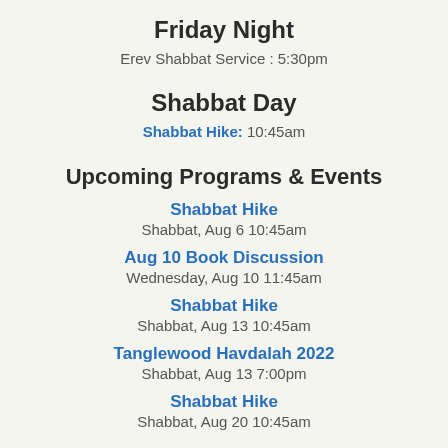Friday Night
Erev Shabbat Service : 5:30pm
Shabbat Day
Shabbat Hike: 10:45am
Upcoming Programs & Events
Shabbat Hike
Shabbat, Aug 6 10:45am
Aug 10 Book Discussion
Wednesday, Aug 10 11:45am
Shabbat Hike
Shabbat, Aug 13 10:45am
Tanglewood Havdalah 2022
Shabbat, Aug 13 7:00pm
Shabbat Hike
Shabbat, Aug 20 10:45am